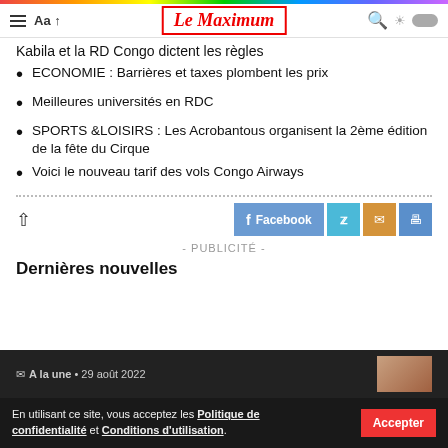Le Maximum
Kabila et la RD Congo dictent les règles
ECONOMIE : Barrières et taxes plombent les prix
Meilleures universités en RDC
SPORTS &LOISIRS : Les Acrobantous organisent la 2ème édition de la fête du Cirque
Voici le nouveau tarif des vols Congo Airways
- PUBLICITÉ -
Dernières nouvelles
En utilisant ce site, vous acceptez les Politique de confidentialité et Conditions d'utilisation.
A la une • 29 août 2022